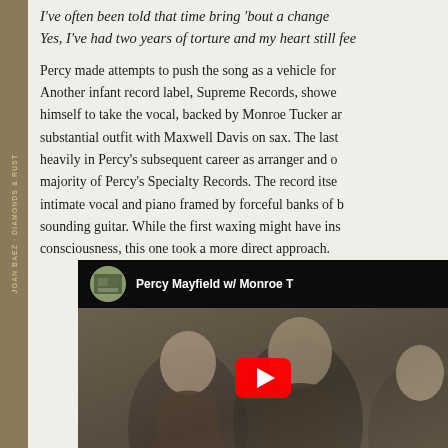I've often been told that time bring 'bout a change
Yes, I've had two years of torture and my heart still fee
Percy made attempts to push the song as a vehicle for Another infant record label, Supreme Records, showed himself to take the vocal, backed by Monroe Tucker and substantial outfit with Maxwell Davis on sax. The last heavily in Percy's subsequent career as arranger and o majority of Percy's Specialty Records. The record itse intimate vocal and piano framed by forceful banks of b sounding guitar. While the first waxing might have ins consciousness, this one took a more direct approach.
[Figure (screenshot): YouTube video embed thumbnail showing 'Percy Mayfield w/ Monroe T' with vintage black and white photo of two people, a YouTube play button overlay, and channel avatar]